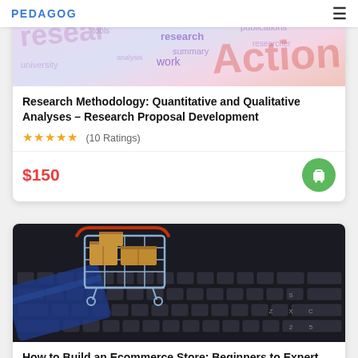PEDAGOG
[Figure (illustration): Word cloud background with research-related terms: research, action, work, etc., in pink, purple, and red tones]
Research Methodology: Quantitative and Qualitative Analyses – Research Proposal Development
★★★★★ (10 Ratings)
$150
[Figure (photo): A mini shopping cart filled with cardboard boxes sitting on a keyboard, representing ecommerce concept]
How to Build an Ecommerce Store: Beginners to Expert
★★★★★ (6 Ratings)